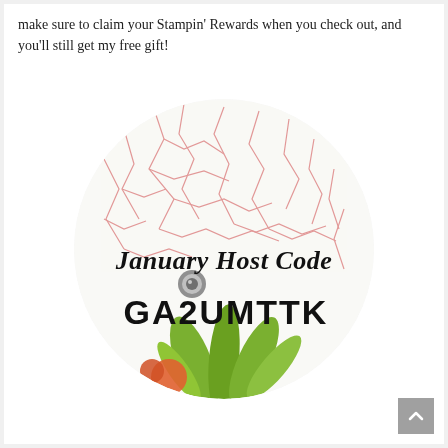make sure to claim your Stampin' Rewards when you check out, and you'll still get my free gift!
[Figure (illustration): Circular badge with crackle texture background and red vein-like lines, featuring green leaves and orange flowers at the bottom, a grey decorative pin, text 'January Host Code' in script font, and bold text 'GA2UMTTK' below it.]